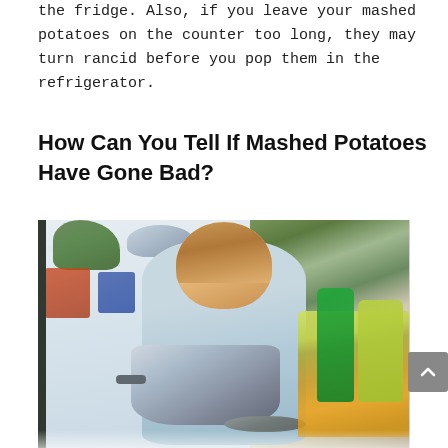the fridge. Also, if you leave your mashed potatoes on the counter too long, they may turn rancid before you pop them in the refrigerator.
How Can You Tell If Mashed Potatoes Have Gone Bad?
[Figure (photo): A woman with reddish-brown hair wearing a light blue top standing in front of an open refrigerator, holding a silver pot and sniffing it to check if the food has gone bad.]